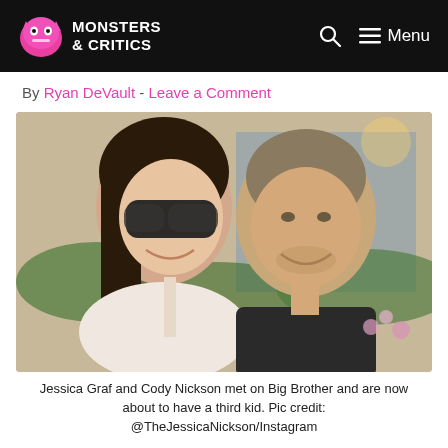Monsters & Critics — Search | Menu
By Ryan DeVault - Leave a Comment
[Figure (photo): A couple smiling together outdoors. A woman with dark hair and large sunglasses leans against a man with short hair wearing a dark t-shirt. Greenery and buildings visible in background.]
Jessica Graf and Cody Nickson met on Big Brother and are now about to have a third kid. Pic credit: @TheJessicaNickson/Instagram